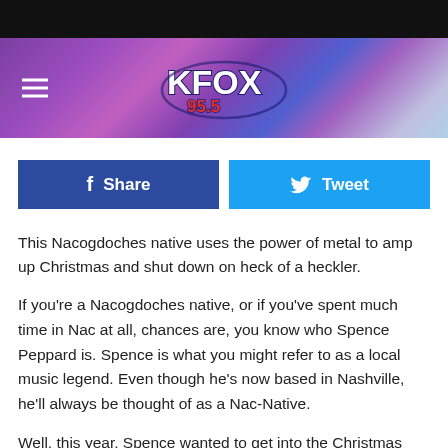[Figure (screenshot): Black top bar of a mobile device screen]
[Figure (logo): KFOX 95.5 radio station logo on a purple geometric gradient banner header with hamburger menu icon on left]
[Figure (infographic): Facebook Share button (dark blue) and Twitter Tweet button (light blue) side by side]
This Nacogdoches native uses the power of metal to amp up Christmas and shut down on heck of a heckler.
If you're a Nacogdoches native, or if you've spent much time in Nac at all, chances are, you know who Spence Peppard is. Spence is what you might refer to as a local music legend. Even though he's now based in Nashville, he'll always be thought of as a Nac-Native.
Well, this year, Spence wanted to get into the Christmas